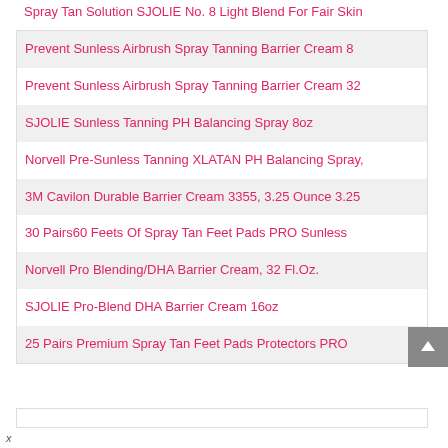Spray Tan Solution SJOLIE No. 8 Light Blend For Fair Skin
Prevent Sunless Airbrush Spray Tanning Barrier Cream 8
Prevent Sunless Airbrush Spray Tanning Barrier Cream 32
SJOLIE Sunless Tanning PH Balancing Spray 8oz
Norvell Pre-Sunless Tanning XLATAN PH Balancing Spray,
3M Cavilon Durable Barrier Cream 3355, 3.25 Ounce 3.25
30 Pairs60 Feets Of Spray Tan Feet Pads PRO Sunless
Norvell Pro Blending/DHA Barrier Cream, 32 Fl.Oz.
SJOLIE Pro-Blend DHA Barrier Cream 16oz
25 Pairs Premium Spray Tan Feet Pads Protectors PRO